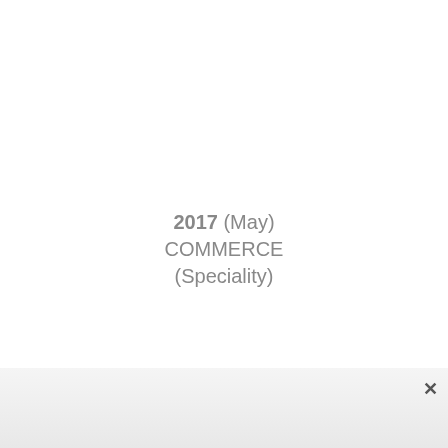2017 (May)
COMMERCE
(Speciality)